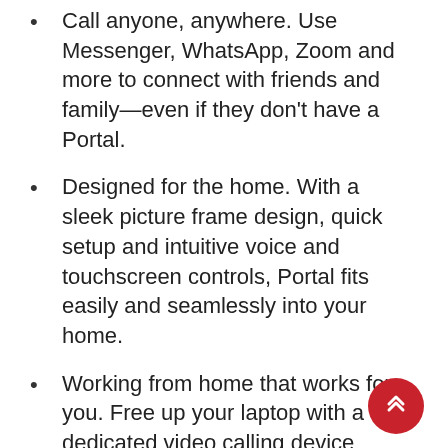Call anyone, anywhere. Use Messenger, WhatsApp, Zoom and more to connect with friends and family—even if they don't have a Portal.
Designed for the home. With a sleek picture frame design, quick setup and intuitive voice and touchscreen controls, Portal fits easily and seamlessly into your home.
Working from home that works for you. Free up your laptop with a dedicated video calling device including screen sharing and calendar integration.
All your entertainment. Portal comes with Spotify, Pandora, Tidal, Facebook Watch and more ready to install